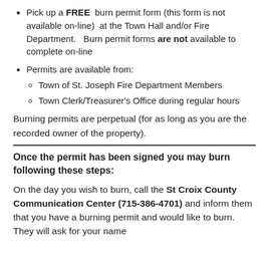Pick up a FREE burn permit form (this form is not available on-line) at the Town Hall and/or Fire Department. Burn permit forms are not available to complete on-line
Permits are available from:
Town of St. Joseph Fire Department Members
Town Clerk/Treasurer's Office during regular hours
Burning permits are perpetual (for as long as you are the recorded owner of the property).
Once the permit has been signed you may burn following these steps:
On the day you wish to burn, call the St Croix County Communication Center (715-386-4701) and inform them that you have a burning permit and would like to burn. They will ask for your name